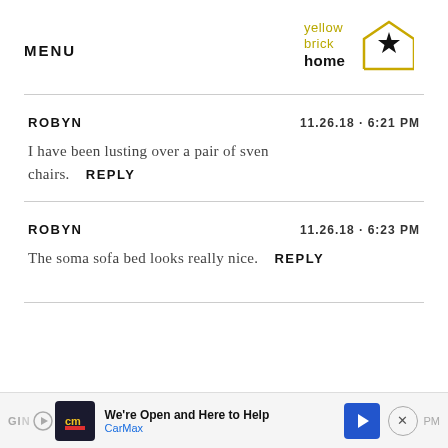MENU | yellow brick home (logo)
ROBYN   11.26.18 · 6:21 PM
I have been lusting over a pair of sven chairs.   REPLY
ROBYN   11.26.18 · 6:23 PM
The soma sofa bed looks really nice.   REPLY
Advertisement: We're Open and Here to Help - CarMax